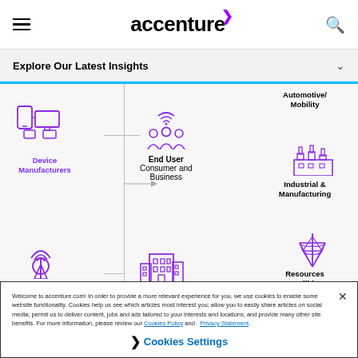accenture (navigation bar with hamburger menu and search icon)
Explore Our Latest Insights
[Figure (infographic): Industry ecosystem diagram showing Device Manufacturers and Infrastructure Developers on the left connecting via lines and arrows to End User (Consumer and Business) in the center, which connects to Automotive/Mobility, Industrial & Manufacturing, Resources & Utilities, and a partially visible health icon on the right. All icons are in purple/violet color.]
Welcome to accenture.com! In order to provide a more relevant experience for you, we use cookies to enable some website functionality. Cookies help us see which articles most interest you; allow you to easily share articles on social media; permit us to deliver content, jobs and ads tailored to your interests and locations; and provide many other site benefits. For more information, please review our Cookies Policy and Privacy Statement.
Cookies Settings